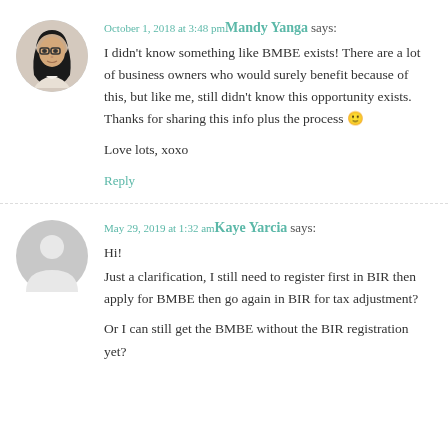[Figure (photo): Circular avatar photo of Mandy Yanga, a woman with glasses and dark hair]
October 1, 2018 at 3:48 pm Mandy Yanga says:
I didn't know something like BMBE exists! There are a lot of business owners who would surely benefit because of this, but like me, still didn't know this opportunity exists. Thanks for sharing this info plus the process 🙂

Love lots, xoxo
Reply
[Figure (illustration): Circular grey placeholder avatar for Kaye Yarcia]
May 29, 2019 at 1:32 am Kaye Yarcia says:
Hi!
Just a clarification, I still need to register first in BIR then apply for BMBE then go again in BIR for tax adjustment?

Or I can still get the BMBE without the BIR registration yet?